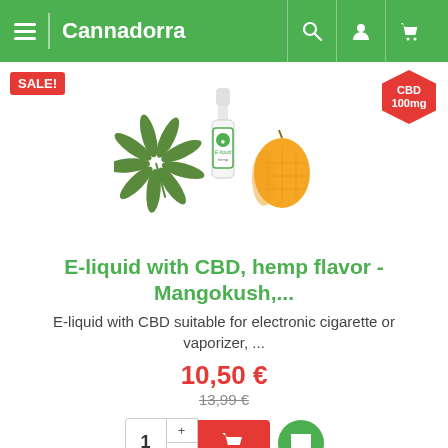Cannadorra
[Figure (photo): E-liquid bottle with CBD label, hemp leaf and mango fruit on white background]
E-liquid with CBD, hemp flavor - Mangokush,...
E-liquid with CBD suitable for electronic cigarette or vaporizer, ...
10,50 €
13,99 €